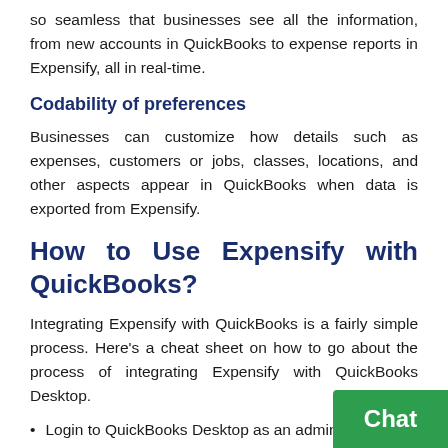so seamless that businesses see all the information, from new accounts in QuickBooks to expense reports in Expensify, all in real-time.
Codability of preferences
Businesses can customize how details such as expenses, customers or jobs, classes, locations, and other aspects appear in QuickBooks when data is exported from Expensify.
How to Use Expensify with QuickBooks?
Integrating Expensify with QuickBooks is a fairly simple process. Here's a cheat sheet on how to go about the process of integrating Expensify with QuickBooks Desktop.
Login to QuickBooks Desktop as an admin and